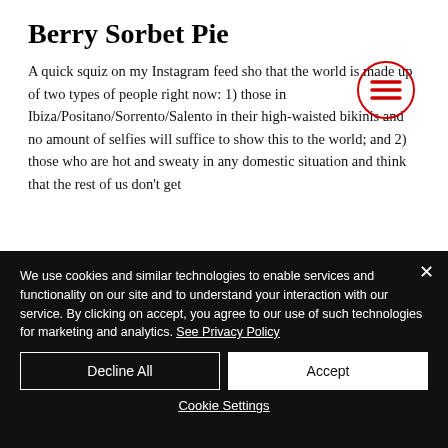Berry Sorbet Pie
[Figure (illustration): Hamburger menu icon (three horizontal red lines) inside a red circle outline, positioned at top right of article area]
A quick squiz on my Instagram feed sho that the world is made up of two types of people right now: 1) those in Ibiza/Positano/Sorrento/Salento in their high-waisted bikinis and no amount of selfies will suffice to show this to the world; and 2) those who are hot and sweaty in any domestic situation and think that the rest of us don't get
We use cookies and similar technologies to enable services and functionality on our site and to understand your interaction with our service. By clicking on accept, you agree to our use of such technologies for marketing and analytics. See Privacy Policy
Decline All
Accept
Cookie Settings